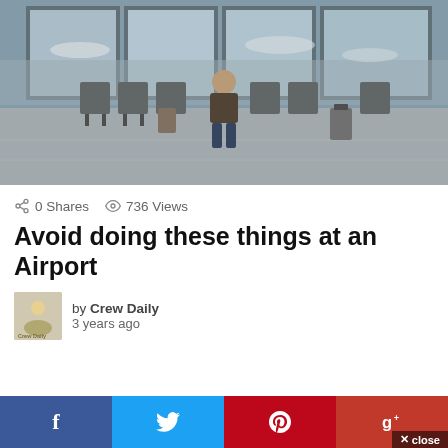[Figure (photo): Person sitting in airport terminal chairs looking at phone, with large windows showing aircraft on tarmac in background]
0 Shares  736 Views
Avoid doing these things at an Airport
by Crew Daily
3 years ago
[Figure (infographic): Social media share bar with Facebook, Twitter, Pinterest, and Google+ buttons, plus a close button]